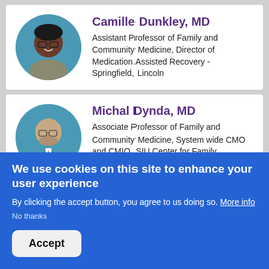[Figure (photo): Circular portrait photo of Camille Dunkley, MD]
Camille Dunkley, MD
Assistant Professor of Family and Community Medicine, Director of Medication Assisted Recovery - Springfield, Lincoln
[Figure (photo): Circular portrait photo of Michal Dynda, MD]
Michal Dynda, MD
Associate Professor of Family and Community Medicine, System wide CMO and CMIO, SIU Center for Family
We use cookies on this site to enhance your user experience
By clicking the accept button, you agree to us doing so. More info
No thanks
Accept